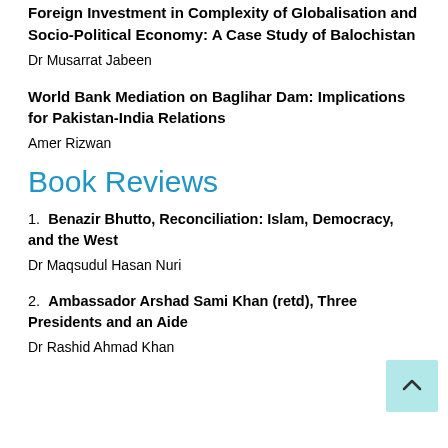Foreign Investment in Complexity of Globalisation and Socio-Political Economy: A Case Study of Balochistan
Dr Musarrat Jabeen
World Bank Mediation on Baglihar Dam: Implications for Pakistan-India Relations
Amer Rizwan
Book Reviews
1. Benazir Bhutto, Reconciliation: Islam, Democracy, and the West
Dr Maqsudul Hasan Nuri
2. Ambassador Arshad Sami Khan (retd), [Three] Presidents and an Aide
Dr Rashid Ahmad Khan